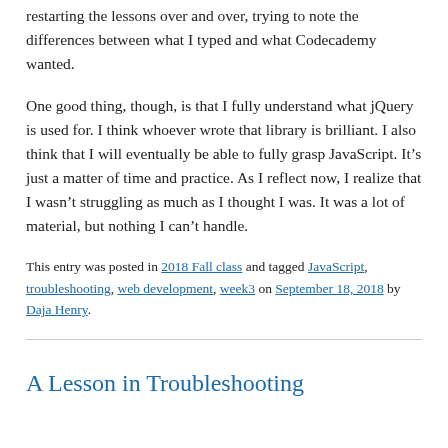restarting the lessons over and over, trying to note the differences between what I typed and what Codecademy wanted.
One good thing, though, is that I fully understand what jQuery is used for. I think whoever wrote that library is brilliant. I also think that I will eventually be able to fully grasp JavaScript. It's just a matter of time and practice. As I reflect now, I realize that I wasn't struggling as much as I thought I was. It was a lot of material, but nothing I can't handle.
This entry was posted in 2018 Fall class and tagged JavaScript, troubleshooting, web development, week3 on September 18, 2018 by Daja Henry.
A Lesson in Troubleshooting